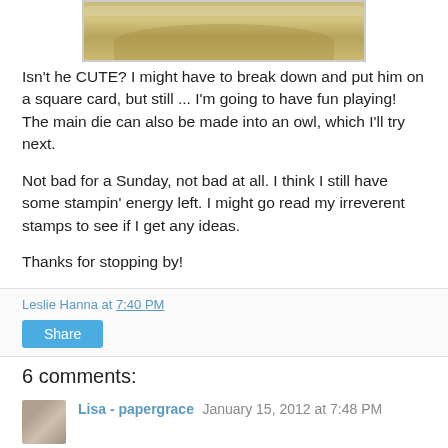[Figure (photo): Partial view of a craft/stamping image showing a textured oval or bird shape on a card, cropped at top]
Isn't he CUTE? I might have to break down and put him on a square card, but still ... I'm going to have fun playing! The main die can also be made into an owl, which I'll try next.
Not bad for a Sunday, not bad at all. I think I still have some stampin' energy left. I might go read my irreverent stamps to see if I get any ideas.
Thanks for stopping by!
Leslie Hanna at 7:40 PM
Share
6 comments:
Lisa - papergrace  January 15, 2012 at 7:48 PM